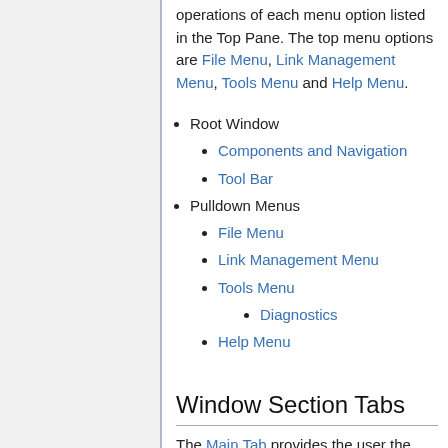operations of each menu option listed in the Top Pane. The top menu options are File Menu, Link Management Menu, Tools Menu and Help Menu.
Root Window
Components and Navigation
Tool Bar
Pulldown Menus
File Menu
Link Management Menu
Tools Menu
Diagnostics
Help Menu
Window Section Tabs
The Main Tab provides the user the ability to view the top-level content of the